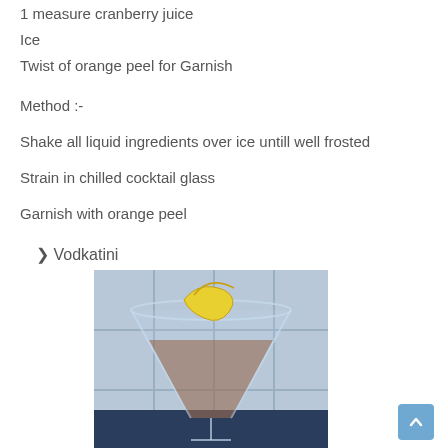1 measure cranberry juice
Ice
Twist of orange peel for Garnish
Method :-
Shake all liquid ingredients over ice untill well frosted
Strain in chilled cocktail glass
Garnish with orange peel
Vodkatini
[Figure (photo): A martini glass with a clear/amber cocktail garnished with a twisted lemon/orange peel, set against a blurred background with blue tile accents.]